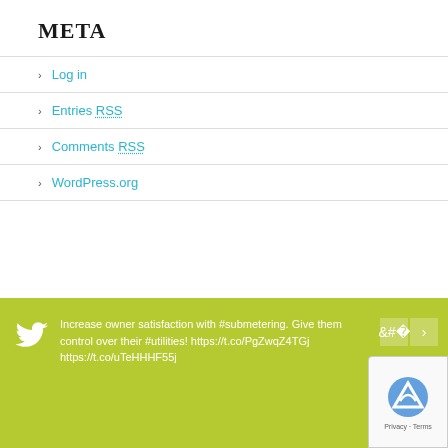META
Log in
Entries RSS
Comments RSS
WordPress.org
Increase owner satisfaction with #submetering. Give them control over their #utilities! https://t.co/PgZwqZ4TGj https://t.co/uTeHHHF55j